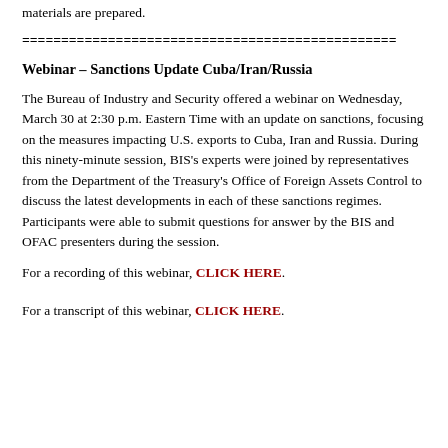materials are prepared.
================================================
Webinar – Sanctions Update Cuba/Iran/Russia
The Bureau of Industry and Security offered a webinar on Wednesday, March 30 at 2:30 p.m. Eastern Time with an update on sanctions, focusing on the measures impacting U.S. exports to Cuba, Iran and Russia. During this ninety-minute session, BIS's experts were joined by representatives from the Department of the Treasury's Office of Foreign Assets Control to discuss the latest developments in each of these sanctions regimes. Participants were able to submit questions for answer by the BIS and OFAC presenters during the session.
For a recording of this webinar, CLICK HERE.
For a transcript of this webinar, CLICK HERE.